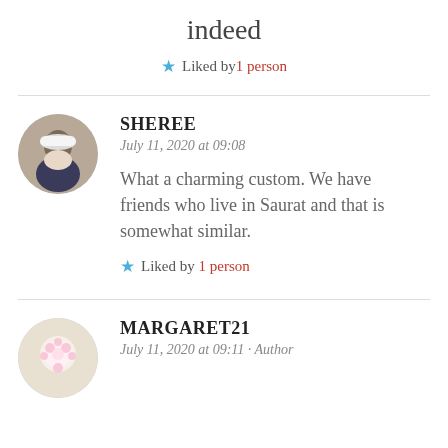indeed
★ Liked by 1 person
SHEREE
July 11, 2020 at 09:08
What a charming custom. We have friends who live in Saurat and that is somewhat similar.
★ Liked by 1 person
MARGARET21
July 11, 2020 at 09:11 · Author